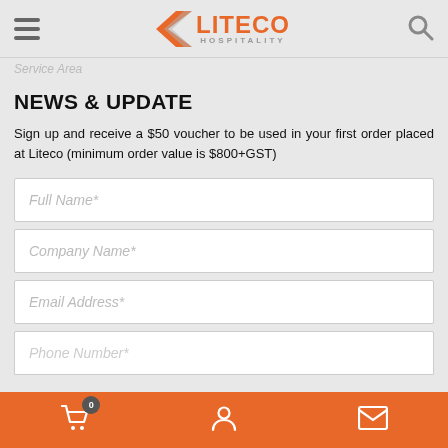Liteco Hospitality
Service Area
NEWS & UPDATE
Sign up and receive a $50 voucher to be used in your first order placed at Liteco (minimum order value is $800+GST)
Full Name*
Company Name*
Email Address*
Phone Number*
0 cart | account | mail